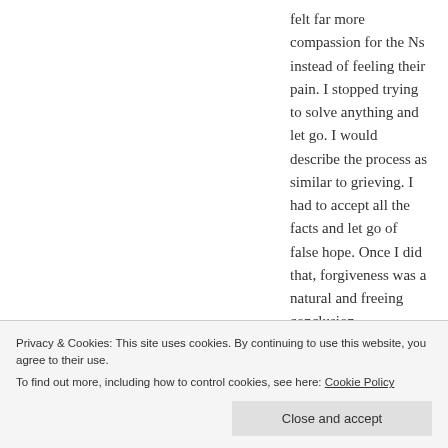[hamburger menu icon]
felt far more compassion for the Ns instead of feeling their pain. I stopped trying to solve anything and let go. I would describe the process as similar to grieving. I had to accept all the facts and let go of false hope. Once I did that, forgiveness was a natural and freeing conclusion.
Mercy, honoring yourself at all times is affirming and healthy. You are unique, and valuable and worthy of honor. Choosing to
Privacy & Cookies: This site uses cookies. By continuing to use this website, you agree to their use.
To find out more, including how to control cookies, see here: Cookie Policy
Close and accept